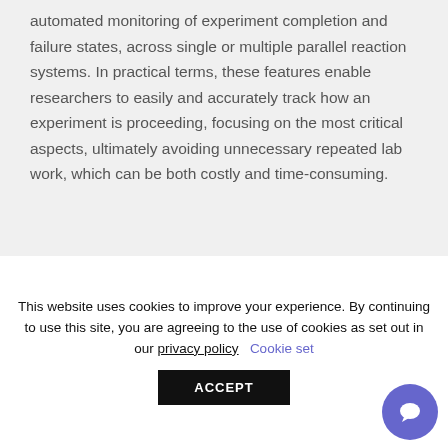advanced real-time data display engine, and automated monitoring of experiment completion and failure states, across single or multiple parallel reaction systems. In practical terms, these features enable researchers to easily and accurately track how an experiment is proceeding, focusing on the most critical aspects, ultimately avoiding unnecessary repeated lab work, which can be both costly and time-consuming.
This website uses cookies to improve your experience. By continuing to use this site, you are agreeing to the use of cookies as set out in our privacy policy  Cookie settings